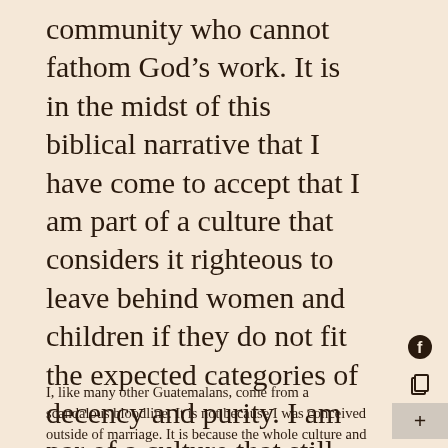community who cannot fathom God's work. It is in the midst of this biblical narrative that I have come to accept that I am part of a culture that considers it righteous to leave behind women and children if they do not fit the expected categories of decency and purity. I am part of a culture that still considers women to be property.
I, like many other Guatemalans, come from a scandalous bloodline. It is not because I was conceived outside of marriage. It is because the whole culture and ethnicity that I